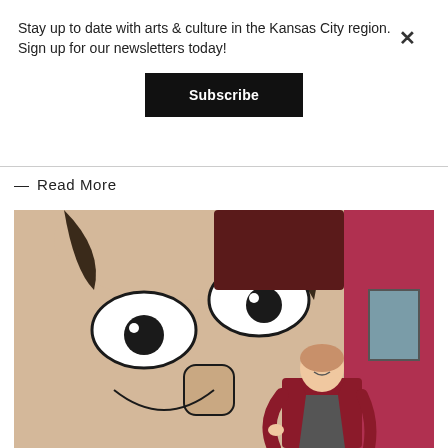Stay up to date with arts & culture in the Kansas City region. Sign up for our newsletters today!
Subscribe
— Read More
[Figure (photo): A smiling woman in a red blazer standing in front of a large colorful street mural depicting a cartoon-style face with exaggerated eyes and hands, on a building exterior.]